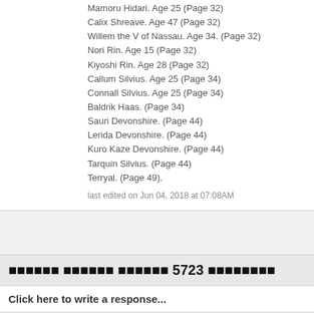Mamoru Hidari. Age 25 (Page 32)
Calix Shreave. Age 47 (Page 32)
Willem the V of Nassau. Age 34. (Page 32)
Nori Rin. Age 15 (Page 32)
Kiyoshi Rin. Age 28 (Page 32)
Callum Silvius. Age 25 (Page 34)
Connall Silvius. Age 25 (Page 34)
Baldrik Haas. (Page 34)
Sauri Devonshire. (Page 44)
Lerida Devonshire. (Page 44)
Kuro Kaze Devonshire. (Page 44)
Tarquin Silvius. (Page 44)
Terryal. (Page 49).
last edited on Jun 04, 2018 at 07:08AM
🔲🔲🔲🔲🔲🔲 🔲🔲🔲🔲🔲🔲 🔲🔲🔲🔲🔲🔲 5723 🔲🔲🔲🔲🔲🔲🔲🔲
Click here to write a response...
Showing Replies 4701-4750 of 5723